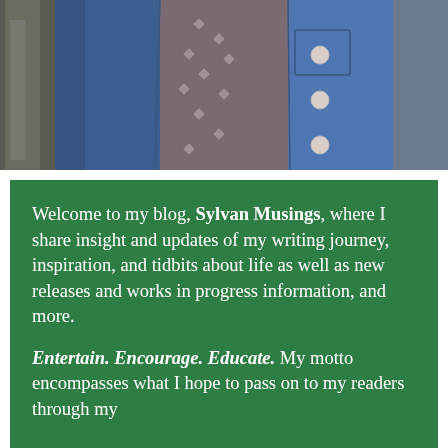[Figure (photo): Person wearing a denim jacket over a patterned blouse, photographed from chest area downward, with a tree trunk visible in the background.]
Welcome to my blog, Sylvan Musings, where I share insight and updates of my writing journey, inspiration, and tidbits about life as well as new releases and works in progress information, and more.
Entertain. Encourage. Educate. My motto encompasses what I hope to pass on to my readers through my